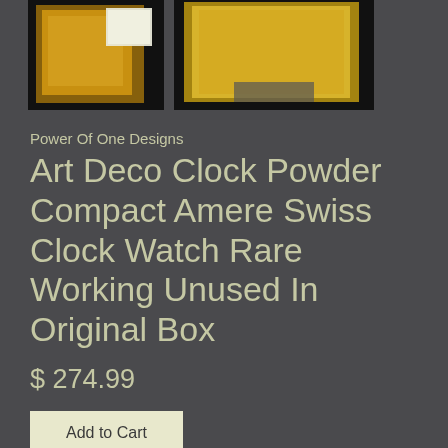[Figure (photo): Two product photos of an Art Deco clock powder compact shown against a dark background. Left image shows the compact open with a mirror/powder compartment. Right image shows a close-up of the clock face.]
Power Of One Designs
Art Deco Clock Powder Compact Amere Swiss Clock Watch Rare Working Unused In Original Box
$ 274.99
Add to Cart